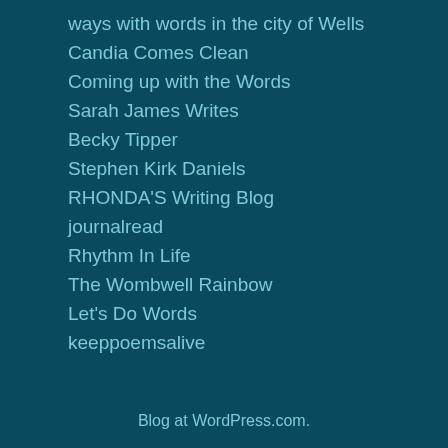ways with words in the city of Wells
Candia Comes Clean
Coming up with the Words
Sarah James Writes
Becky Tipper
Stephen Kirk Daniels
RHONDA'S Writing Blog
journalread
Rhythm In Life
The Wombwell Rainbow
Let's Do Words
keeppoemsalive
Blog at WordPress.com.